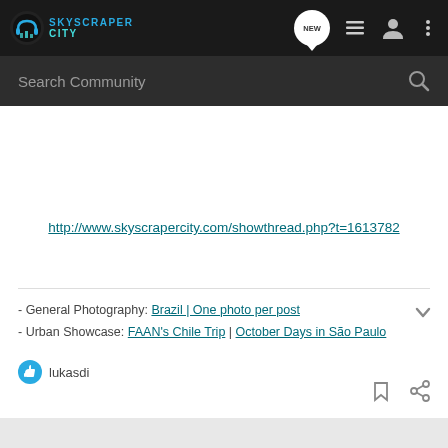[Figure (screenshot): SkyscraperCity navigation bar with logo, NEW speech bubble, list icon, user icon, and three-dot menu]
Search Community
http://www.skyscrapercity.com/showthread.php?t=1613782
- General Photography: Brazil | One photo per post
- Urban Showcase: FAAN's Chile Trip | October Days in São Paulo
lukasdi